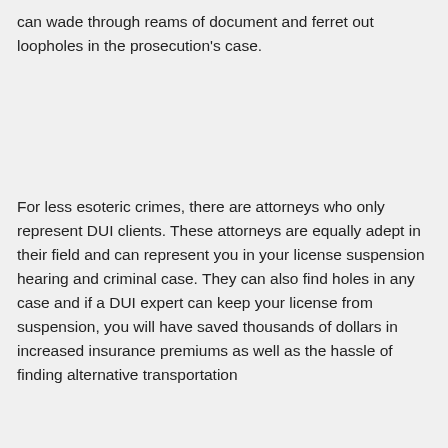can wade through reams of document and ferret out loopholes in the prosecution's case.
For less esoteric crimes, there are attorneys who only represent DUI clients. These attorneys are equally adept in their field and can represent you in your license suspension hearing and criminal case. They can also find holes in any case and if a DUI expert can keep your license from suspension, you will have saved thousands of dollars in increased insurance premiums as well as the hassle of finding alternative transportation